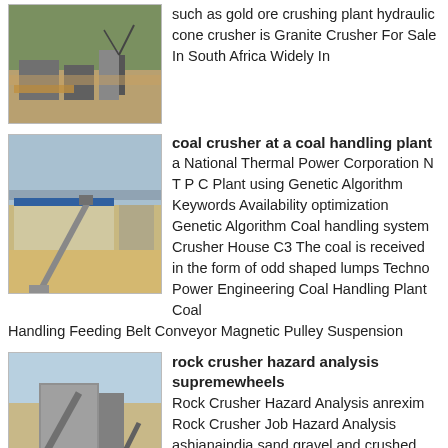[Figure (photo): Outdoor mining/crushing plant site with machinery, cranes, and rocky terrain]
such as gold ore crushing plant hydraulic cone crusher is Granite Crusher For Sale In South Africa Widely In
[Figure (photo): Industrial conveyor belt system with coal/aggregate material at a handling plant with mountains in background]
coal crusher at a coal handling plant
a National Thermal Power Corporation N T P C Plant using Genetic Algorithm Keywords Availability optimization Genetic Algorithm Coal handling system Crusher House C3 The coal is received in the form of odd shaped lumps Techno Power Engineering Coal Handling Plant Coal Handling Feeding Belt Conveyor Magnetic Pulley Suspension
[Figure (photo): Rock crusher industrial machine with conveyor belts and equipment on a site]
rock crusher hazard analysis supremewheels
Rock Crusher Hazard Analysis anrexim Rock Crusher Job Hazard Analysis ashianaindia sand gravel and crushed stone on the job sand gravel and crushed stone rock enters the jaw crusher from the